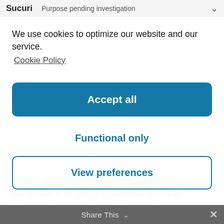Sucuri   Purpose pending investigation   ˅
We use cookies to optimize our website and our service.
Cookie Policy
Accept all
Functional only
View preferences
cookies. As soon as you click on "Save preferences", you consent to us using the categories of cookies and plug-ins you selected in the pop-up, as described in this Cookie Policy. You can disable the use of cookies via your browser, but please note that
Share This   ˅   ✕